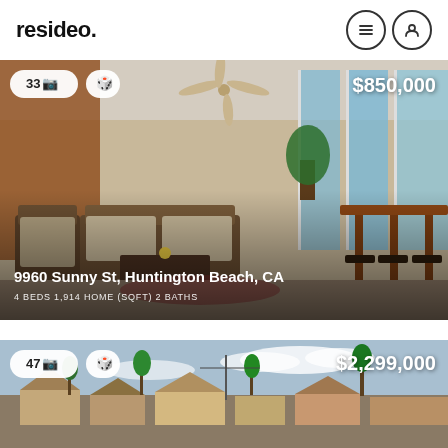resideo.
[Figure (photo): Interior photo of a sunroom/living area with wicker furniture, curtains, and large windows. Property listing card showing 9960 Sunny St, Huntington Beach, CA. Price: $850,000. 4 BEDS, 1,914 HOME (SQFT), 2 BATHS. Photo count badge: 33.]
[Figure (photo): Aerial/elevated exterior photo of a residential neighborhood. Property listing card showing price $2,299,000. Photo count badge: 47.]